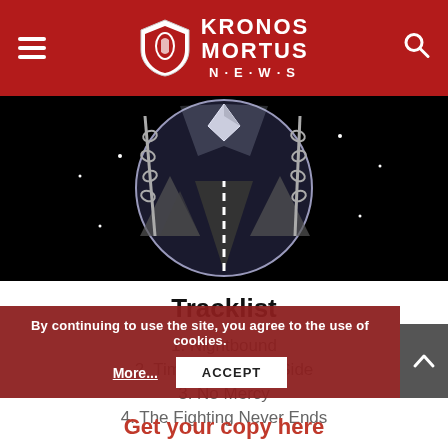Kronos Mortus News
[Figure (illustration): Album artwork showing a road leading into a circular vortex-like tunnel with chains, mountains, and cosmic imagery in black and white]
Tracklist
1. Nightbound
2. Time Is On Your Side
3. No Mercy
4. The Fighting Never Ends
By continuing to use the site, you agree to the use of cookies.
Get your copy here